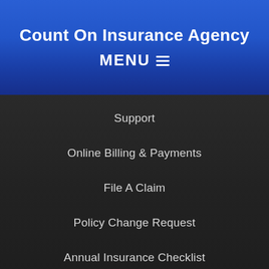Count On Insurance Agency
MENU ☰
Support
Online Billing & Payments
File A Claim
Policy Change Request
Annual Insurance Checklist